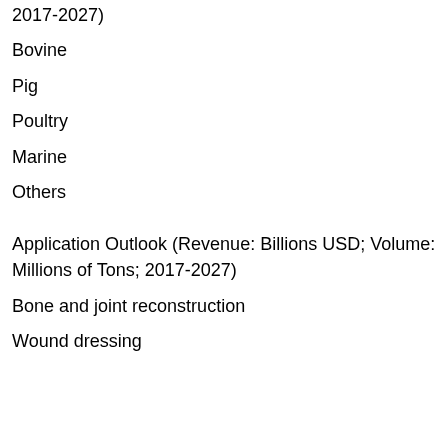2017-2027)
Bovine
Pig
Poultry
Marine
Others
Application Outlook (Revenue: Billions USD; Volume: Millions of Tons; 2017-2027)
Bone and joint reconstruction
Wound dressing